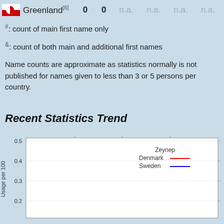| Country | Col1 | Col2 | Col3 | Col4 | Col5 | Col6 |
| --- | --- | --- | --- | --- | --- | --- |
| Greenland[6] | 0 | 0 | n.a. | n.a. | n.a. | n.a. |
#: count of main first name only
&: count of both main and additional first names
Name counts are approximate as statistics normally is not published for names given to less than 3 or 5 persons per country.
Recent Statistics Trend
[Figure (line-chart): Zeynep]